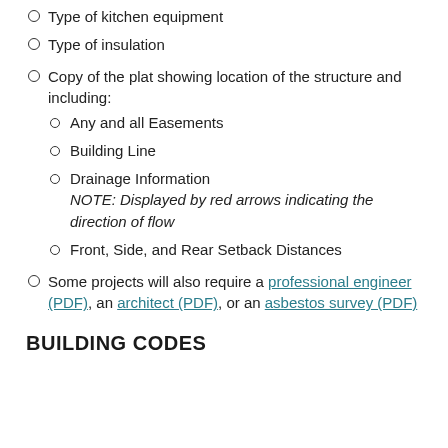Type of kitchen equipment
Type of insulation
Copy of the plat showing location of the structure and including:
Any and all Easements
Building Line
Drainage Information NOTE: Displayed by red arrows indicating the direction of flow
Front, Side, and Rear Setback Distances
Some projects will also require a professional engineer (PDF), an architect (PDF), or an asbestos survey (PDF)
BUILDING CODES